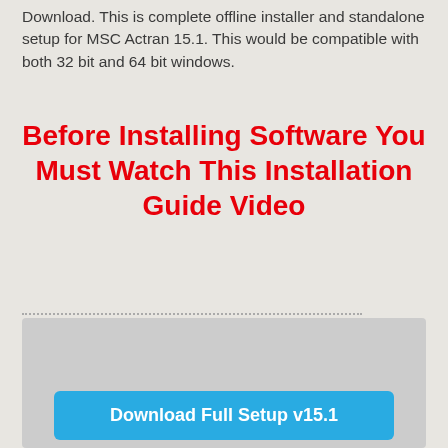Download. This is complete offline installer and standalone setup for MSC Actran 15.1. This would be compatible with both 32 bit and 64 bit windows.
Before Installing Software You Must Watch This Installation Guide Video
[Figure (screenshot): A gray video player box with a blue download button labeled 'Download Full Setup v15.1']